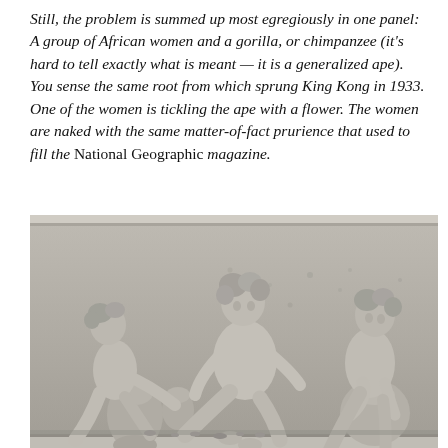Still, the problem is summed up most egregiously in one panel: A group of African women and a gorilla, or chimpanzee (it's hard to tell exactly what is meant — it is a generalized ape). You sense the same root from which sprung King Kong in 1933. One of the women is tickling the ape with a flower. The women are naked with the same matter-of-fact prurience that used to fill the National Geographic magazine.
[Figure (photo): A black and white photograph of a stone relief sculpture depicting three nude women seated or crouching, with pottery vessels around them. The relief appears to be from a classical or neoclassical architectural frieze.]